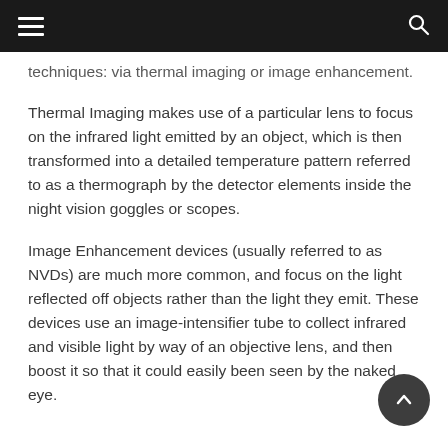[hamburger menu icon] [search icon]
techniques: via thermal imaging or image enhancement.
Thermal Imaging makes use of a particular lens to focus on the infrared light emitted by an object, which is then transformed into a detailed temperature pattern referred to as a thermograph by the detector elements inside the night vision goggles or scopes.
Image Enhancement devices (usually referred to as NVDs) are much more common, and focus on the light reflected off objects rather than the light they emit. These devices use an image-intensifier tube to collect infrared and visible light by way of an objective lens, and then boost it so that it could easily been seen by the naked eye.